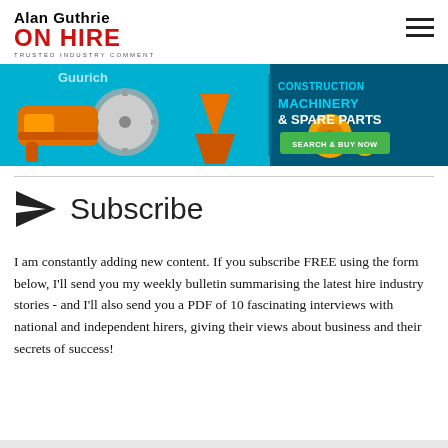Alan Guthrie ON HIRE TRUSTED INDUSTRY COMMENT
[Figure (illustration): Advertising banner for construction machinery and spare parts showing power tools, cutting disc, orange equipment and accessories on a teal/blue background with text 'CONSTRUCTION MACHINERY & SPARE PARTS' and a green 'SEARCH & BUY NOW' button]
Subscribe
I am constantly adding new content. If you subscribe FREE using the form below, I'll send you my weekly bulletin summarising the latest hire industry stories - and I'll also send you a PDF of 10 fascinating interviews with national and independent hirers, giving their views about business and their secrets of success!